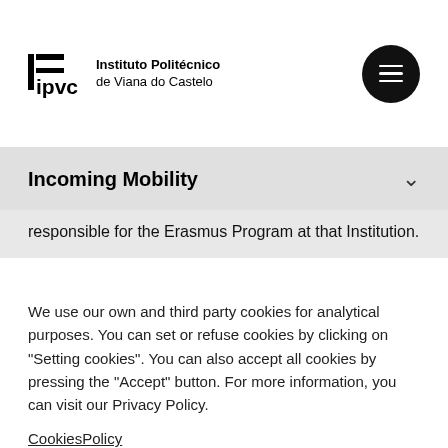[Figure (logo): IPVC - Instituto Politécnico de Viana do Castelo logo with menu button]
Incoming Mobility
responsible for the Erasmus Program at that Institution.
We use our own and third party cookies for analytical purposes. You can set or refuse cookies by clicking on "Setting cookies". You can also accept all cookies by pressing the "Accept" button. For more information, you can visit our Privacy Policy.
CookiesPolicy
Setting cookies
Accept